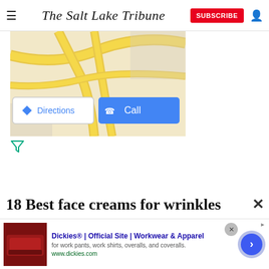The Salt Lake Tribune
[Figure (map): Partial Google Maps view with yellow road lines, showing Directions and Call buttons overlaid]
[Figure (other): Filter/funnel icon in teal/green color]
18 Best face creams for wrinkles
[Figure (screenshot): Advertisement banner for Dickies Official Site - Workwear & Apparel, showing red sofa image, with close and arrow buttons]